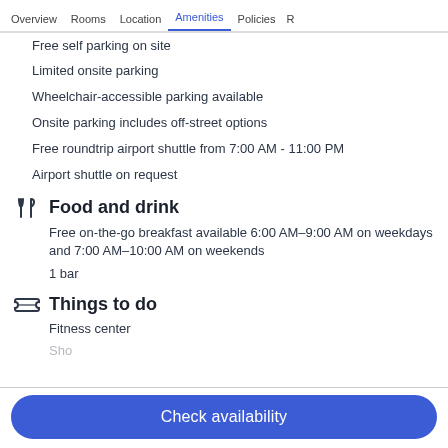Overview  Rooms  Location  Amenities  Policies
Free self parking on site
Limited onsite parking
Wheelchair-accessible parking available
Onsite parking includes off-street options
Free roundtrip airport shuttle from 7:00 AM - 11:00 PM
Airport shuttle on request
Food and drink
Free on-the-go breakfast available 6:00 AM–9:00 AM on weekdays and 7:00 AM–10:00 AM on weekends
1 bar
Things to do
Fitness center
Check availability